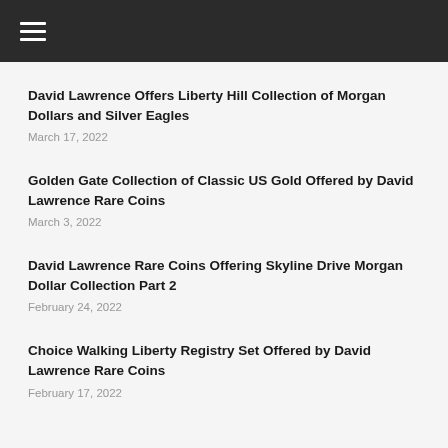☰
David Lawrence Offers Liberty Hill Collection of Morgan Dollars and Silver Eagles
March 17, 2022
Golden Gate Collection of Classic US Gold Offered by David Lawrence Rare Coins
March 3, 2022
David Lawrence Rare Coins Offering Skyline Drive Morgan Dollar Collection Part 2
February 24, 2022
Choice Walking Liberty Registry Set Offered by David Lawrence Rare Coins
February 17, 2022